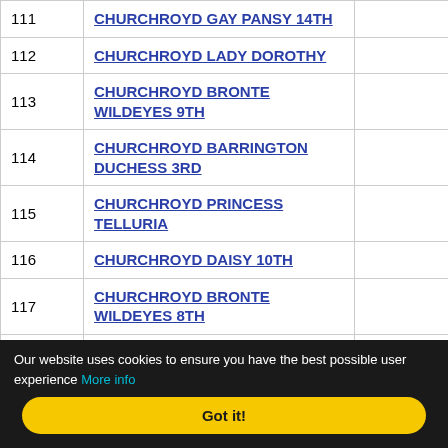| # | Name |  | Reg No | Sex |
| --- | --- | --- | --- | --- |
| 111 | CHURCHROYD GAY PANSY 14TH |  | 02645724 | F |
| 112 | CHURCHROYD LADY DOROTHY |  | 02645725 | F |
| 113 | CHURCHROYD BRONTE WILDEYES 9TH |  | 02645726 | F |
| 114 | CHURCHROYD BARRINGTON DUCHESS 3RD |  | 02645727 | F |
| 115 | CHURCHROYD PRINCESS TELLURIA |  | 02645728 | F |
| 116 | CHURCHROYD DAISY 10TH |  | 02645729 | F |
| 117 | CHURCHROYD BRONTE WILDEYES 8TH |  | 02645730 | F |
| 118 | CHURCHROYD GENTLE 16TH |  | 02645731 | F |
| 119 | CHURCHROYD HEATHER 9TH |  | 02645732 | F |
Our website uses cookies to ensure you have the best possible user experience More info
Got it!